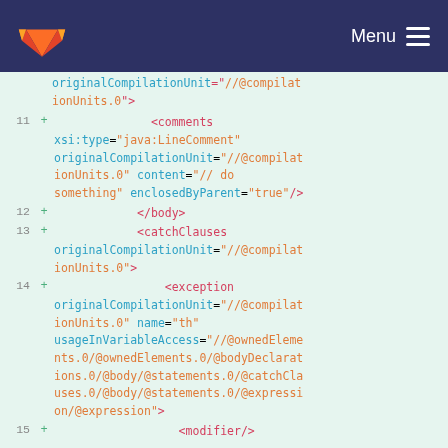GitLab logo | Menu
Code diff showing XML content with line numbers 11-15. Lines show XML tags: originalCompilationUnit, comments, /body, catchClauses, exception, modifier elements with various attributes.